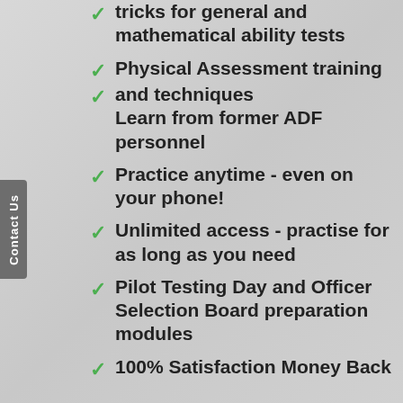tricks for general and mathematical ability tests
Physical Assessment training and techniques
Learn from former ADF personnel
Practice anytime - even on your phone!
Unlimited access - practise for as long as you need
Pilot Testing Day and Officer Selection Board preparation modules
100% Satisfaction Money Back